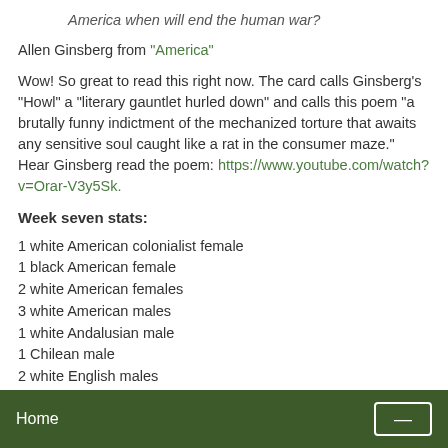America when will end the human war?
Allen Ginsberg from "America"
Wow! So great to read this right now. The card calls Ginsberg's "Howl" a "literary gauntlet hurled down" and calls this poem "a brutally funny indictment of the mechanized torture that awaits any sensitive soul caught like a rat in the consumer maze." Hear Ginsberg read the poem: https://www.youtube.com/watch?v=Orar-V3y5Sk.
Week seven stats:
1 white American colonialist female
1 black American female
2 white American females
3 white American males
1 white Andalusian male
1 Chilean male
2 white English males
1 white French male
1 white Italian male
Home